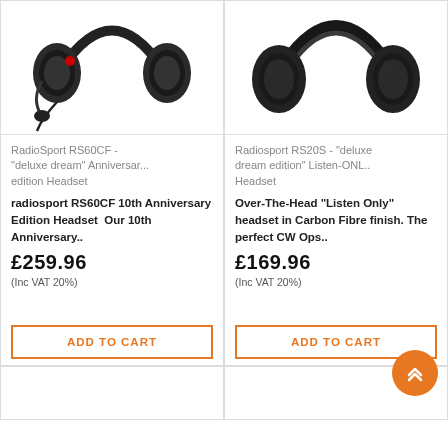[Figure (photo): RadioSport RS60CF headset photo — black over-ear headset with red button and boom microphone, on white background]
RadioSport RS60CF - "deluxe dream" Anniversar... edition Headset
radiosport RS60CF 10th Anniversary Edition Headset  Our 10th Anniversary..
£259.96
(Inc VAT 20%)
ADD TO CART
[Figure (photo): Radiosport RS20S headset photo — black over-ear large headset with carbon fibre finish, on white background]
Radiosport RS20S - "deluxe dream edition" Listen-ONL.. Headset
Over-The-Head "Listen Only" headset in Carbon Fibre finish. The perfect CW Ops..
£169.96
(Inc VAT 20%)
ADD TO CART